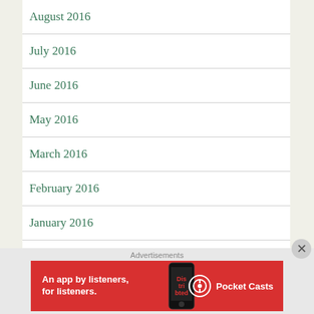August 2016
July 2016
June 2016
May 2016
March 2016
February 2016
January 2016
December 2015
November 2015
Advertisements
[Figure (other): Advertisement banner for Pocket Casts app: red background, text 'An app by listeners, for listeners.' with Pocket Casts logo and phone image]